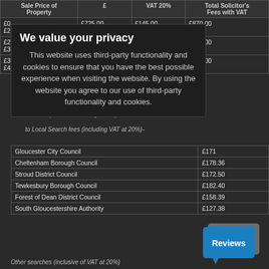| Sale Price of Property | £ | VAT 20% | Total Solicitor's Fees with VAT |
| --- | --- | --- | --- |
| £0 – £200,000 | £725.00 | £145.00 | £870.00 |
| £200,001 – £300,000 | £745.00 | £149.00 | £894.00 |
| £300,001 – £400,000 | £765.00 | £153.00 | £918.00 |
Our fees paid to outside Agencies)
to Local Search fees (including VAT at 20%)-
| Council | £ |
| --- | --- |
| Gloucester City Council | £171 |
| Cheltenham Borough Council | £178.36 |
| Stroud District Council | £172.50 |
| Tewkesbury Borough Council | £182.40 |
| Forest of Dean District Council | £158.39 |
| South Gloucestershire Authority | £127.38 |
Other searches (inclusive of VAT at 20%)